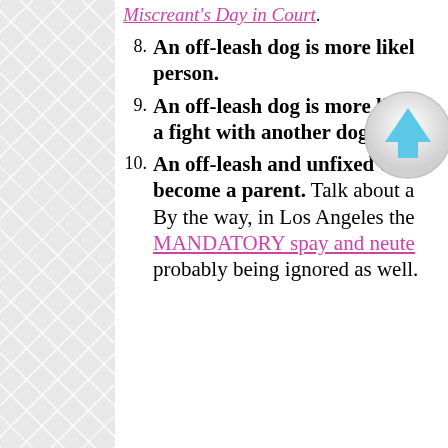Miscreant's Day in Court.
An off-leash dog is more likely to bite a person.
An off-leash dog is more likely to get in a fight with another dog.
An off-leash and unfixed dog is more likely to become a parent. Talk about a By the way, in Los Angeles the MANDATORY spay and neuter probably being ignored as well.